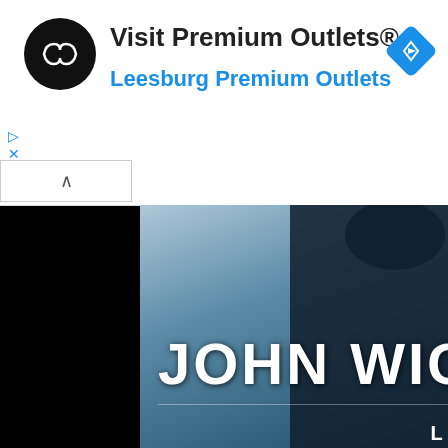[Figure (screenshot): Google ad banner for Premium Outlets with infinity loop logo, navigation arrow icon, play and close icons]
Visit Premium Outlets®
Leesburg Premium Outlets
[Figure (screenshot): John Wick movie promotional banner on Lionsgate Play showing IMDb rating 7.4, with silhouette figure against blue-grey background]